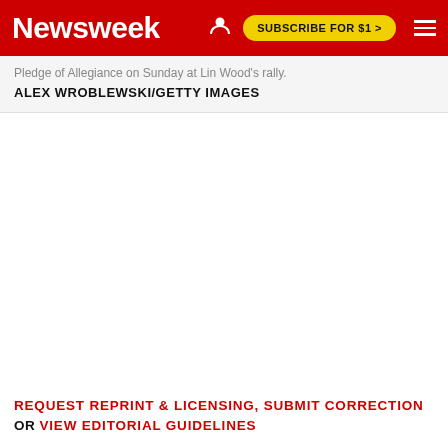Newsweek | SUBSCRIBE FOR $1 >
Pledge of Allegiance on Sunday at Lin Wood's rally.
ALEX WROBLEWSKI/GETTY IMAGES
REQUEST REPRINT & LICENSING, SUBMIT CORRECTION OR VIEW EDITORIAL GUIDELINES